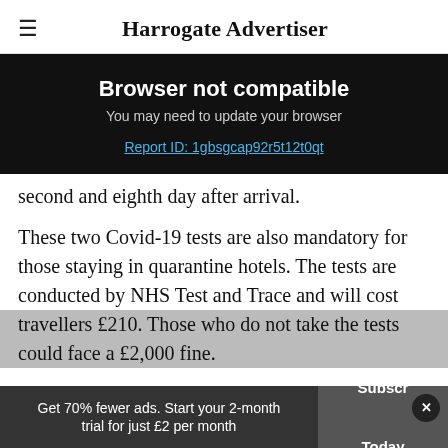≡  Harrogate Advertiser
Browser not compatible
You may need to update your browser
Report ID: 1gbsgcap92r5t12t0qt
second and eighth day after arrival.
These two Covid-19 tests are also mandatory for those staying in quarantine hotels. The tests are conducted by NHS Test and Trace and will cost travellers £210. Those who do not take the tests could face a £2,000 fine.
Get 70% fewer ads. Start your 2-month trial for just £2 per month
Subscribe Today